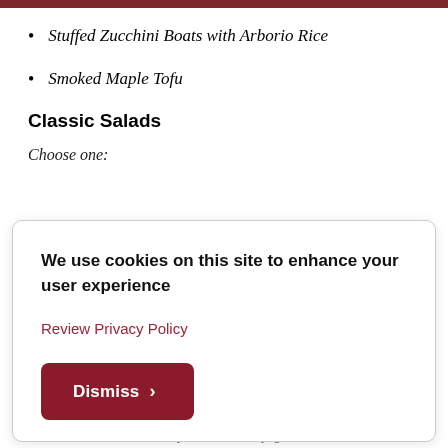Stuffed Zucchini Boats with Arborio Rice
Smoked Maple Tofu
Classic Salads
Choose one:
We use cookies on this site to enhance your user experience
Review Privacy Policy
Dismiss >
Caesar Tomato Spinach • Champagne Pasta Salad